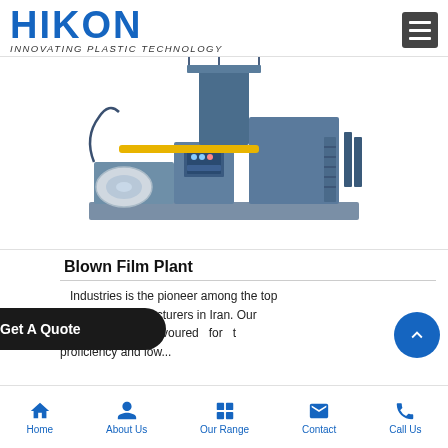HIKON - INNOVATING PLASTIC TECHNOLOGY
[Figure (photo): Industrial blown film plant machine - large blue industrial plastic film extrusion machine]
Blown Film Plant
Industries is the pioneer among the top manufacturers in Iran. Our highly-favoured for the proficiency and low...
Home | About Us | Our Range | Contact | Call Us